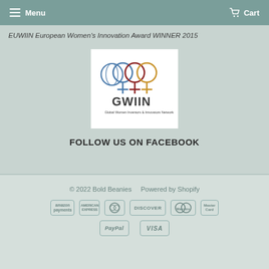Menu   Cart
EUWIIN European Women's Innovation Award WINNER 2015
[Figure (logo): GWIIN - Global Women Inventors & Innovators Network logo with female symbols in blue, dark red, and gold, with a globe]
FOLLOW US ON FACEBOOK
© 2022 Bold Beanies    Powered by Shopify
amazon payments  American Express  Diners Club  DISCOVER  Maestro  MasterCard
PayPal  VISA